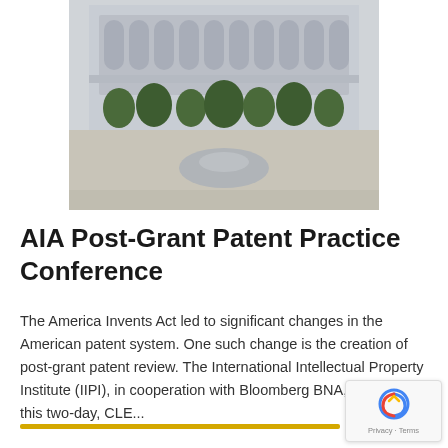[Figure (photo): Photograph of a neoclassical building facade with arches, ornate stonework, trees, and a fountain in the foreground]
AIA Post-Grant Patent Practice Conference
The America Invents Act led to significant changes in the American patent system. One such change is the creation of post-grant patent review. The International Intellectual Property Institute (IIPI), in cooperation with Bloomberg BNA, is hosting this two-day, CLE...